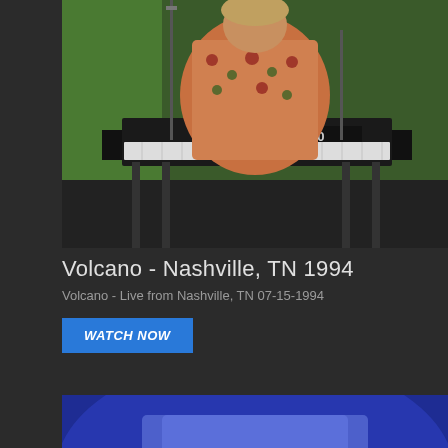[Figure (photo): A musician playing a Roland D-50 keyboard in a studio with a green screen background, wearing a floral shirt]
Volcano - Nashville, TN 1994
Volcano - Live from Nashville, TN 07-15-1994
WATCH NOW
[Figure (photo): A musician playing an acoustic guitar, lit by blue stage lighting, wearing a light blue shirt with a necklace]